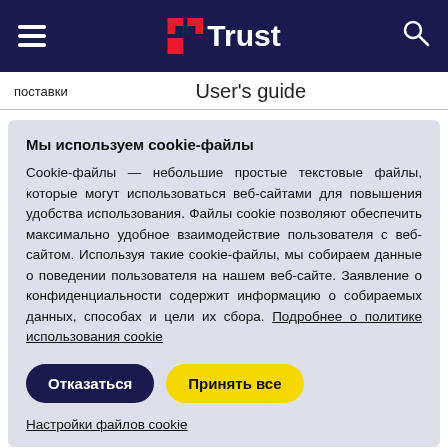[Figure (logo): Trust brand navigation bar with hamburger menu, Trust logo (red icon + white text), and search icon on dark navy background]
поставки   User's guide
Мы используем cookie-файлы
Cookie-файлы — небольшие простые текстовые файлы, которые могут использоваться веб-сайтами для повышения удобства использования. Файлы cookie позволяют обеспечить максимально удобное взаимодействие пользователя с веб-сайтом. Используя такие cookie-файлы, мы собираем данные о поведении пользователя на нашем веб-сайте. Заявление о конфиденциальности содержит информацию о собираемых данных, способах и цели их сбора. Подробнее о политике использования cookie
Отказаться   Принять все
Настройки файлов cookie